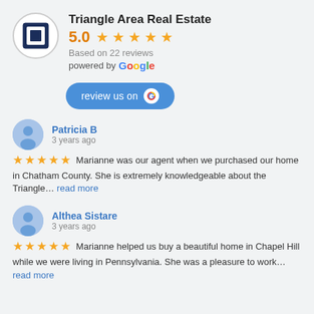Triangle Area Real Estate
5.0 ★★★★★
Based on 22 reviews
powered by Google
review us on G
Patricia B
3 years ago
★★★★★  Marianne was our agent when we purchased our home in Chatham County. She is extremely knowledgeable about the Triangle... read more
Althea Sistare
3 years ago
★★★★★  Marianne helped us buy a beautiful home in Chapel Hill while we were living in Pennsylvania. She was a pleasure to work... read more